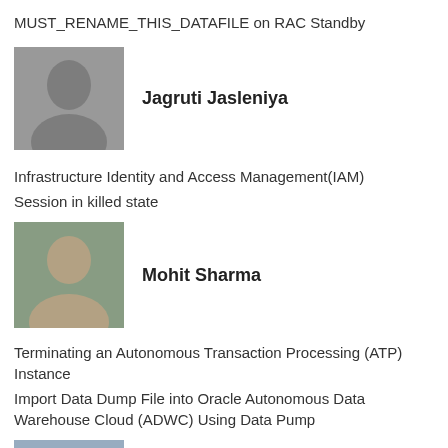MUST_RENAME_THIS_DATAFILE on RAC Standby
[Figure (photo): Portrait photo of Jagruti Jasleniya]
Jagruti Jasleniya
Infrastructure Identity and Access Management(IAM)
Session in killed state
[Figure (photo): Portrait photo of Mohit Sharma]
Mohit Sharma
Terminating an Autonomous Transaction Processing (ATP) Instance
Import Data Dump File into Oracle Autonomous Data Warehouse Cloud (ADWC) Using Data Pump
[Figure (photo): Portrait photo of Shesadev Biswal]
Shesadev Biswal
OutOfMemoryError:Java Heap Space on OEM 12c Agent
Difference Between Local Listener and Remote Listener